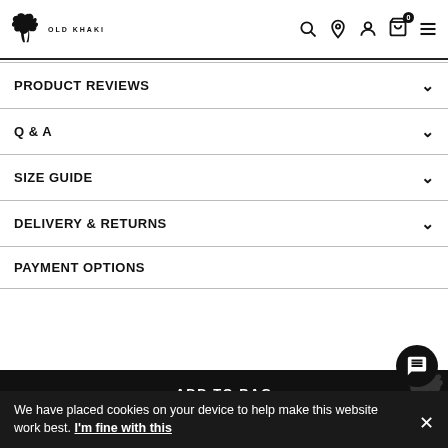[Figure (logo): Old Khaki logo with goat icon and brand name]
PRODUCT REVIEWS
Q & A
SIZE GUIDE
DELIVERY & RETURNS
PAYMENT OPTIONS
ADD TO BAG
[Figure (other): PayPal button]
[Figure (other): PayPal Pay Later button]
We have placed cookies on your device to help make this website work best. I'm fine with this